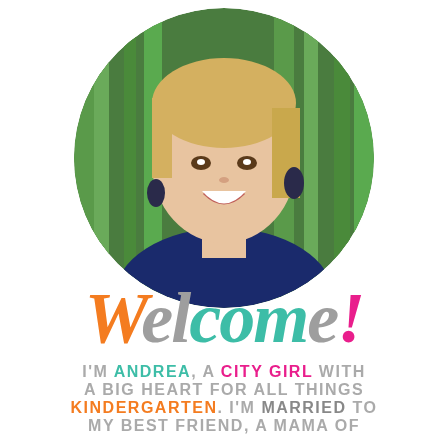[Figure (photo): Circular cropped portrait photo of a smiling blonde woman wearing a navy blue patterned top and dark drop earrings, with green foliage in the background]
Welcome!
I'M ANDREA, A CITY GIRL WITH A BIG HEART FOR ALL THINGS KINDERGARTEN. I'M MARRIED TO MY BEST FRIEND, A MAMA OF